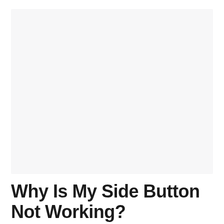[Figure (other): Large light gray rectangular image placeholder area at the top of the page]
Why Is My Side Button Not Working?